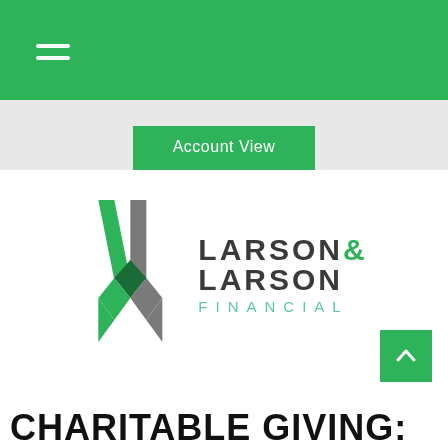Account View
[Figure (logo): Larson & Larson Financial logo with geometric green and gray V-shaped mark and stylized text reading LARSON & LARSON FINANCIAL]
CHARITABLE GIVING: